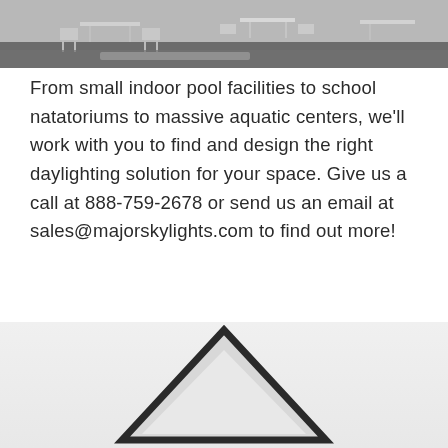[Figure (photo): Indoor facility with metal chairs and tables on a dark floor, viewed from above/side angle]
From small indoor pool facilities to school natatoriums to massive aquatic centers, we'll work with you to find and design the right daylighting solution for your space. Give us a call at 888-759-2678 or send us an email at sales@majorskylights.com to find out more!
[Figure (logo): Dark triangular roof/skylight logo shape at the bottom of the page on a light gray background]